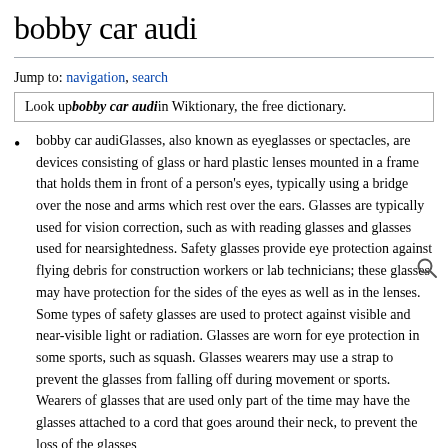bobby car audi
Jump to: navigation, search
Look up bobby car audi in Wiktionary, the free dictionary.
bobby car audiGlasses, also known as eyeglasses or spectacles, are devices consisting of glass or hard plastic lenses mounted in a frame that holds them in front of a person's eyes, typically using a bridge over the nose and arms which rest over the ears. Glasses are typically used for vision correction, such as with reading glasses and glasses used for nearsightedness. Safety glasses provide eye protection against flying debris for construction workers or lab technicians; these glasses may have protection for the sides of the eyes as well as in the lenses. Some types of safety glasses are used to protect against visible and near-visible light or radiation. Glasses are worn for eye protection in some sports, such as squash. Glasses wearers may use a strap to prevent the glasses from falling off during movement or sports. Wearers of glasses that are used only part of the time may have the glasses attached to a cord that goes around their neck, to prevent the loss of the glasses